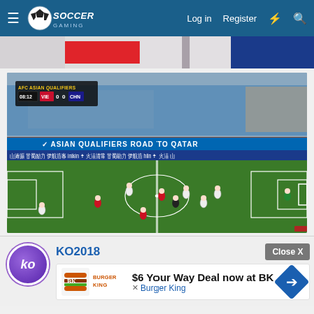Soccer Gaming — Log in | Register
[Figure (screenshot): Live soccer match stream: AFC Asian Qualifiers, Vietnam vs China, score 0-0 at 08:12, played at a stadium with 'ASIAN QUALIFIERS ROAD TO QATAR' advertising board visible. Players in red and white jerseys on a green pitch.]
KO2018
$6 Your Way Deal now at BK
Burger King